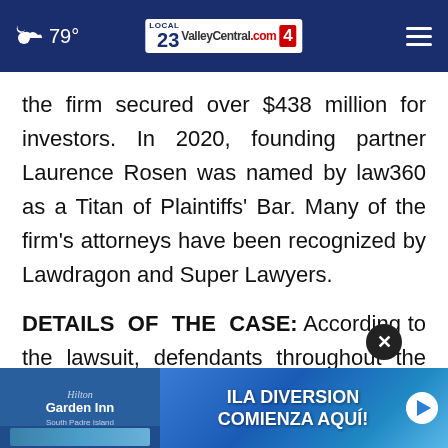79° ValleyCentral.com 23 4
the firm secured over $438 million for investors. In 2020, founding partner Laurence Rosen was named by law360 as a Titan of Plaintiffs' Bar. Many of the firm's attorneys have been recognized by Lawdragon and Super Lawyers.
DETAILS OF THE CASE: According to the lawsuit, defendants throughout the Class Period made false and/or misleading statements and/or failed to disclose that: (1) a material perce... under
[Figure (screenshot): Advertisement overlay showing Hilton Garden Inn South Padre Island hotel ad and ILA DIVERSION COMIENZA AQUI! video ad with a close (x) button and a play button]